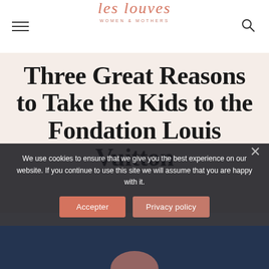les louves — WOMEN & MOTHERS
Three Great Reasons to Take the Kids to the Fondation Louis Vuitton
We use cookies to ensure that we give you the best experience on our website. If you continue to use this site we will assume that you are happy with it.
Accepter | Privacy policy